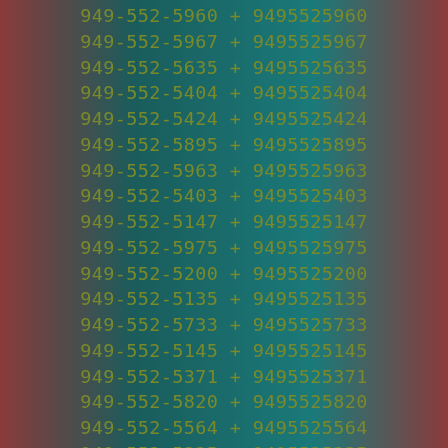949-552-5960 + 9495525960
949-552-5967 + 9495525967
949-552-5635 + 9495525635
949-552-5404 + 9495525404
949-552-5424 + 9495525424
949-552-5895 + 9495525895
949-552-5963 + 9495525963
949-552-5403 + 9495525403
949-552-5147 + 9495525147
949-552-5975 + 9495525975
949-552-5200 + 9495525200
949-552-5135 + 9495525135
949-552-5733 + 9495525733
949-552-5145 + 9495525145
949-552-5371 + 9495525371
949-552-5820 + 9495525820
949-552-5564 + 9495525564
949-552-5325 + 9495525325
949-552-5489 + 9495525489
949-552-5401 + 9495525401
949-552-5581 + 9495525581
949-552-5602 + 9495525602
949-552-5261 + 9495525261